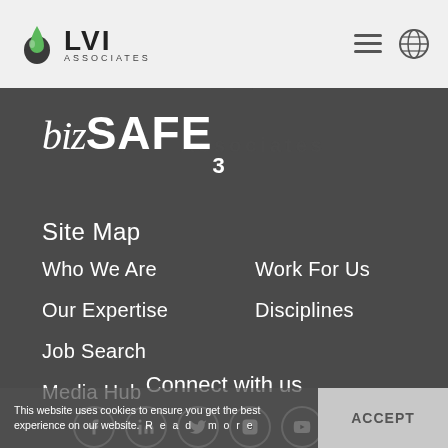LVI Associates
[Figure (logo): bizSAFE 3 logo in white text on dark background]
Site Map
Who We Are
Our Expertise
Job Search
Media Hub
Work For Us
Disciplines
Connect with us
This website uses cookies to ensure you get the best experience on our website.  Read more
ACCEPT